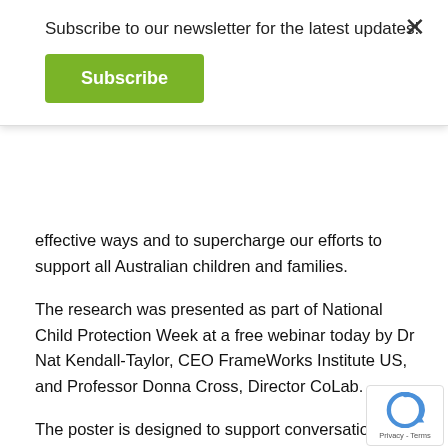Subscribe to our newsletter for the latest updates!
Subscribe
effective ways and to supercharge our efforts to support all Australian children and families.
The research was presented as part of National Child Protection Week at a free webinar today by Dr Nat Kendall-Taylor, CEO FrameWorks Institute US, and Professor Donna Cross, Director CoLab.
The poster is designed to support conversations about how we can build communities that help children to thrive, and features an artwork created by the kids at C&K Kedron, ages 4-5. Here's what they had to say about their artwork:
“This was a collaboration of our Kindergarten children discussing things that they love about Australia. Each child